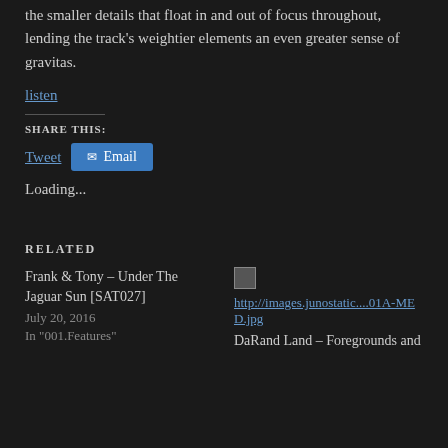the smaller details that float in and out of focus throughout, lending the track's weightier elements an even greater sense of gravitas.
listen
SHARE THIS:
Tweet  Email
Loading...
RELATED
Frank & Tony – Under The Jaguar Sun [SAT027]
July 20, 2016
In "001.Features"
http://images.junostatic....01A-MED.jpg
DaRand Land – Foregrounds and